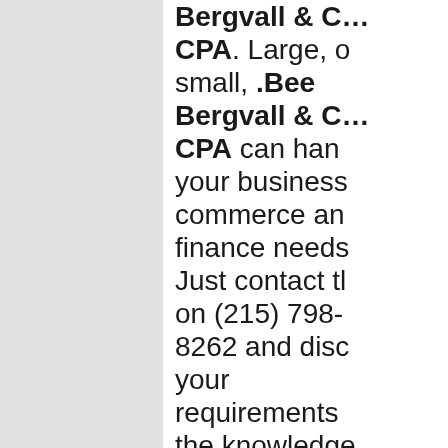Bergvall & Co - CPA. Large, or small, .Bee Bergvall & Co - CPA can handle your business commerce and finance needs. Just contact them on (215) 798-8262 and discover your requirements the knowledge that you are dealing with Income Tax Return Preparation Service experience. .Bee Bergvall & Co - CPA's website is at https://www.b